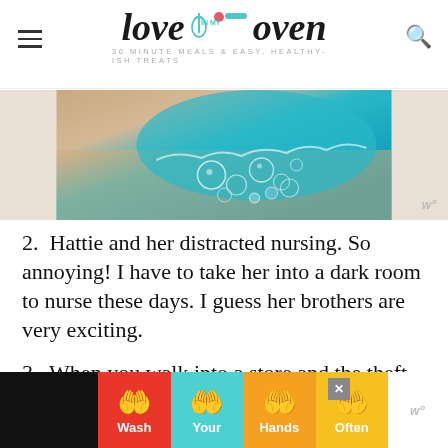love in my oven — 30 MINUTE MEALS & EASY, HEALTHY-ISH TREATS
[Figure (photo): Close-up photo of blue soapy water with bubbles on a beige/sand surface]
2.  Hattie and her distracted nursing. So annoying! I have to take her into a dark room to nurse these days. I guess her brothers are very exciting.
3.  When you walk into a store and the theft beeper goes off – do you keep on walking like nothing happened or do you look around and act all surprised so
[Figure (infographic): Ad banner: Wash Your Hands Often — four colored panels (red, teal, orange, yellow) with hand-washing emoji icons]